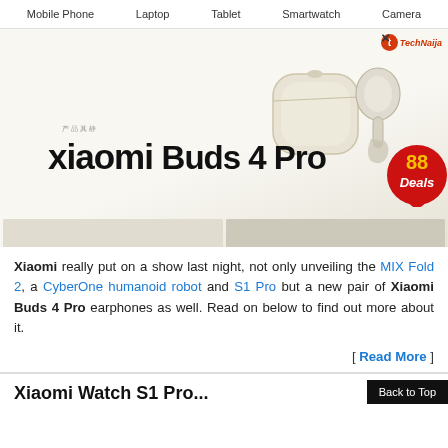Mobile Phone   Laptop   Tablet   Smartwatch   Camera
[Figure (photo): Xiaomi Buds 4 Pro promotional image showing white/silver wireless earbuds with charging case on light background, with TechNaija logo in top right corner and Xiaomi Buds 4 Pro branding text]
Xiaomi really put on a show last night, not only unveiling the MIX Fold 2, a CyberOne humanoid robot and S1 Pro but a new pair of Xiaomi Buds 4 Pro earphones as well. Read on below to find out more about it.
[ Read More ]
Xiaomi Watch S1 Pro...